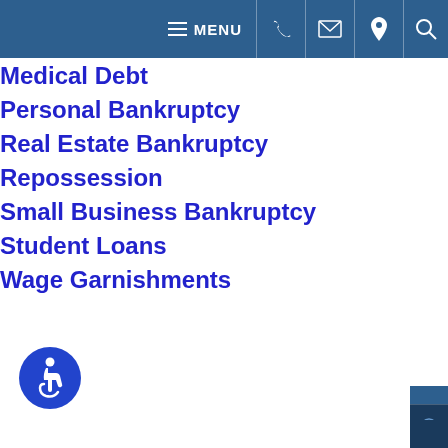MENU navigation bar with phone, email, location, search icons
Medical Debt
Personal Bankruptcy
Real Estate Bankruptcy
Repossession
Small Business Bankruptcy
Student Loans
Wage Garnishments
[Figure (illustration): Accessibility icon — blue circle with wheelchair user symbol]